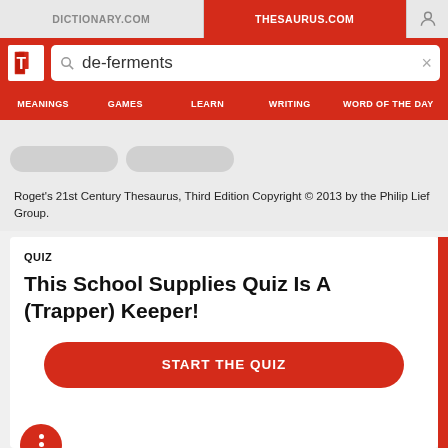DICTIONARY.COM | THESAURUS.COM
de-ferments
MEANINGS  GAMES  LEARN  WRITING  WORD OF THE DAY
Roget's 21st Century Thesaurus, Third Edition Copyright © 2013 by the Philip Lief Group.
QUIZ
This School Supplies Quiz Is A (Trapper) Keeper!
START THE QUIZ
FEEDBACK